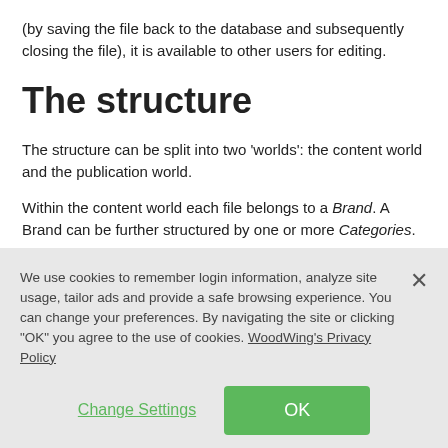(by saving the file back to the database and subsequently closing the file), it is available to other users for editing.
The structure
The structure can be split into two ‘worlds’: the content world and the publication world.
Within the content world each file belongs to a Brand. A Brand can be further structured by one or more Categories.
We use cookies to remember login information, analyze site usage, tailor ads and provide a safe browsing experience. You can change your preferences. By navigating the site or clicking “OK” you agree to the use of cookies. WoodWing’s Privacy Policy
Change Settings
OK